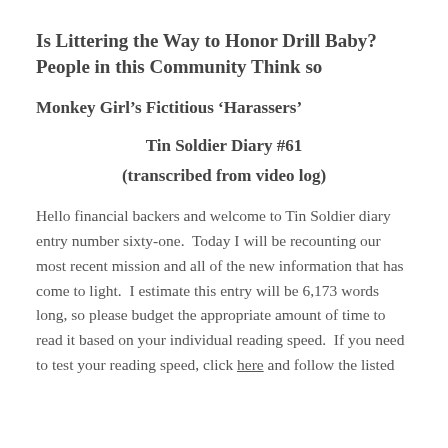Is Littering the Way to Honor Drill Baby?  People in this Community Think so
Monkey Girl’s Fictitious ‘Harassers’
Tin Soldier Diary #61
(transcribed from video log)
Hello financial backers and welcome to Tin Soldier diary entry number sixty-one.  Today I will be recounting our most recent mission and all of the new information that has come to light.  I estimate this entry will be 6,173 words long, so please budget the appropriate amount of time to read it based on your individual reading speed.  If you need to test your reading speed, click here and follow the listed